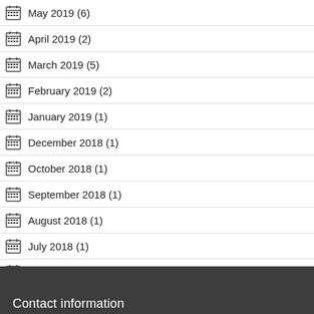May 2019 (6)
April 2019 (2)
March 2019 (5)
February 2019 (2)
January 2019 (1)
December 2018 (1)
October 2018 (1)
September 2018 (1)
August 2018 (1)
July 2018 (1)
July 2017 (1)
January 1970 (1)
Contact information